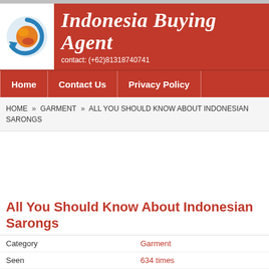Indonesia Buying Agent — contact: (+62)81318740741
Home | Contact Us | Privacy Policy
HOME » GARMENT » ALL YOU SHOULD KNOW ABOUT INDONESIAN SARONGS
All You Should Know About Indonesian Sarongs
| Category |  |
| --- | --- |
| Category | Garment |
| Seen | 634 times |